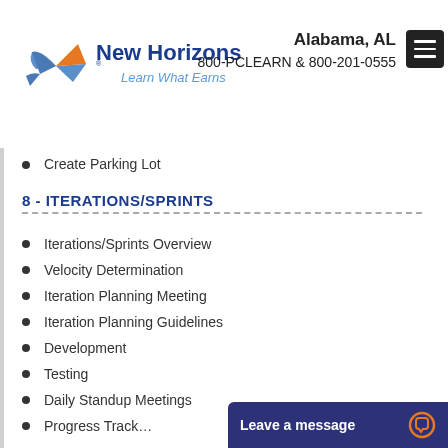[Figure (logo): New Horizons logo with stylized compass/arrow icon in blue and orange, text 'New Horizons' in dark blue bold, tagline 'Learn What Earns' in light blue italic]
Alabama, AL  800-PCLEARN  & 800-201-0555
Create Parking Lot
8 - ITERATIONS/SPRINTS
Iterations/Sprints Overview
Velocity Determination
Iteration Planning Meeting
Iteration Planning Guidelines
Development
Testing
Daily Standup Meetings
Progress Track...
[Figure (other): Chat widget overlay: dark navy blue rectangle with 'Leave a message' text in white bold and orange chat bubble icon on right]